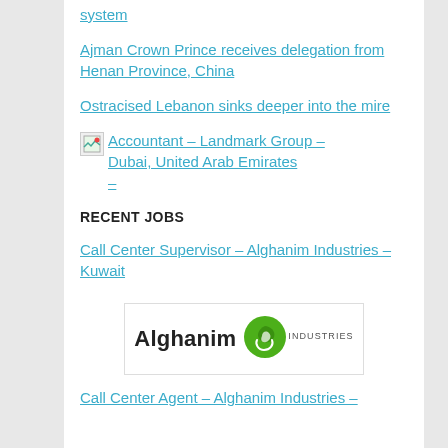system
Ajman Crown Prince receives delegation from Henan Province, China
Ostracised Lebanon sinks deeper into the mire
Accountant – Landmark Group – Dubai, United Arab Emirates –
RECENT JOBS
Call Center Supervisor – Alghanim Industries – Kuwait
[Figure (logo): Alghanim Industries logo — company name in dark text with green swirl icon and 'INDUSTRIES' subtext]
Call Center Agent – Alghanim Industries –